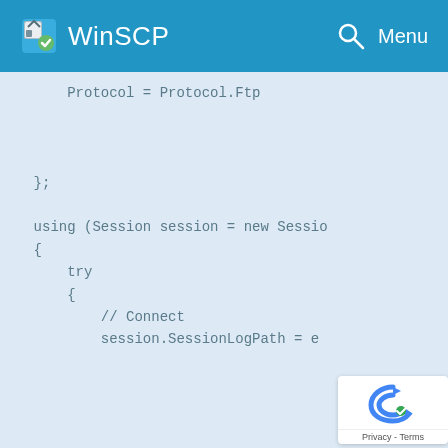WinSCP
Protocol = Protocol.Ftp

};

using (Session session = new Sessio
{
    try
    {
        // Connect
        session.SessionLogPath = e
[Figure (logo): reCAPTCHA privacy terms overlay in bottom right corner]